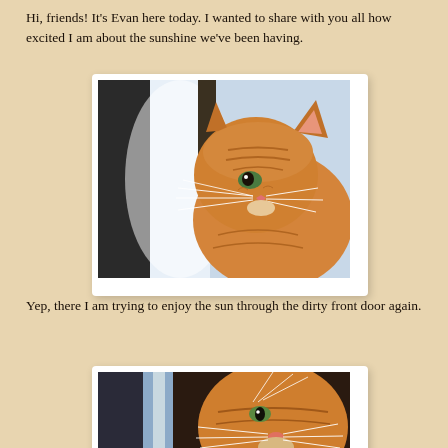Hi, friends! It's Evan here today. I wanted to share with you all how excited I am about the sunshine we've been having.
[Figure (photo): Orange tabby cat looking upward toward a window with bright light coming through a dirty glass door, profile view showing whiskers]
Yep, there I am trying to enjoy the sun through the dirty front door again.
[Figure (photo): Orange tabby cat photographed from below/side angle near a window, looking toward camera with whiskers visible]